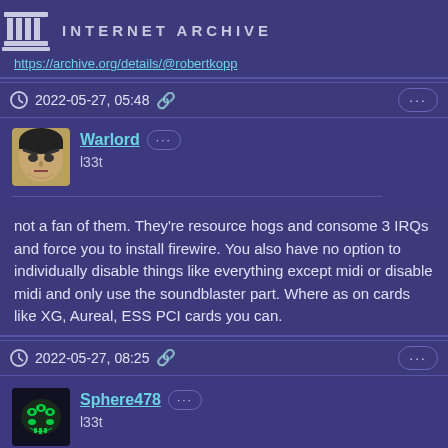INTERNET ARCHIVE
https://archive.org/details/@robertkopp
2022-05-27, 05:48
Warlord
l33t
not a fan of them. They're resource hogs and consome 3 IRQs and force you to install firewire. You also have no option to individually disable things like everything except midi or disable midi and only use the soundblaster part. Where as on cards like XG, Aureal, ESS PCI cards you can.
2022-05-27, 08:25
Sphere478
l33t